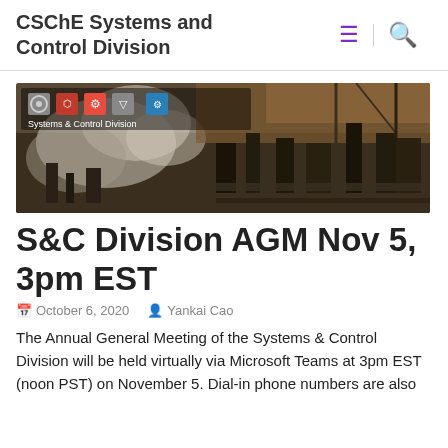CSChE Systems and Control Division
[Figure (photo): Aerial photograph of an industrial/factory facility with smoke and machinery, with a 'Systems & Control Division' logo overlay in the top-left corner]
S&C Division AGM Nov 5, 3pm EST
October 6, 2020   Yankai Cao
The Annual General Meeting of the Systems & Control Division will be held virtually via Microsoft Teams at 3pm EST (noon PST) on November 5. Dial-in phone numbers are also